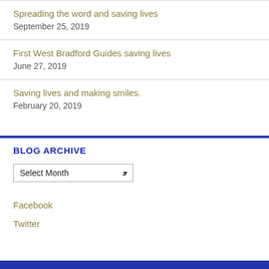Spreading the word and saving lives
September 25, 2019
First West Bradford Guides saving lives
June 27, 2019
Saving lives and making smiles.
February 20, 2019
BLOG ARCHIVE
Select Month
Facebook
Twitter